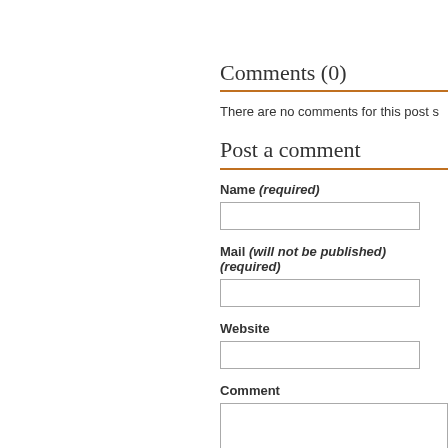Comments (0)
There are no comments for this post s
Post a comment
Name (required)
Mail (will not be published) (required)
Website
Comment